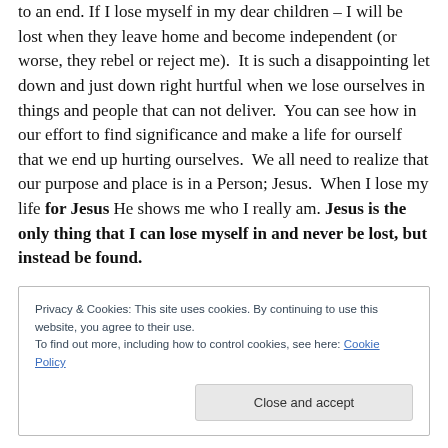to an end. If I lose myself in my dear children – I will be lost when they leave home and become independent (or worse, they rebel or reject me).  It is such a disappointing let down and just down right hurtful when we lose ourselves in things and people that can not deliver.  You can see how in our effort to find significance and make a life for ourself that we end up hurting ourselves.  We all need to realize that our purpose and place is in a Person; Jesus.  When I lose my life for Jesus He shows me who I really am. Jesus is the only thing that I can lose myself in and never be lost, but instead be found.
Privacy & Cookies: This site uses cookies. By continuing to use this website, you agree to their use.
To find out more, including how to control cookies, see here: Cookie Policy
Close and accept